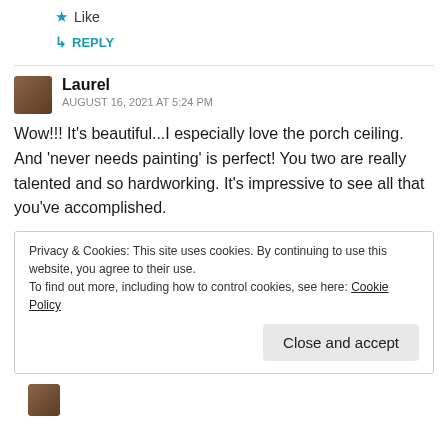★ Like
↳ REPLY
Laurel
AUGUST 16, 2021 AT 5:24 PM
Wow!!! It's beautiful...I especially love the porch ceiling. And 'never needs painting' is perfect! You two are really talented and so hardworking. It's impressive to see all that you've accomplished.
Privacy & Cookies: This site uses cookies. By continuing to use this website, you agree to their use.
To find out more, including how to control cookies, see here: Cookie Policy
Close and accept